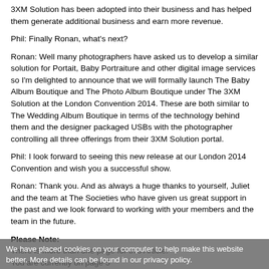3XM Solution has been adopted into their business and has helped them generate additional business and earn more revenue.
Phil: Finally Ronan, what's next?
Ronan: Well many photographers have asked us to develop a similar solution for Portait, Baby Portraiture and other digital image services so I'm delighted to announce that we will formally launch The Baby Album Boutique and The Photo Album Boutique under The 3XM Solution at the London Convention 2014. These are both similar to The Wedding Album Boutique in terms of the technology behind them and the designer packaged USBs with the photographer controlling all three offerings from their 3XM Solution portal.
Phil: I look forward to seeing this new release at our London 2014 Convention and wish you a successful show.
Ronan: Thank you. And as always a huge thanks to yourself, Juliet and the team at The Societies who have given us great support in the past and we look forward to working with your members and the team in the future.
Please Note:
There is more than one page for this Article.
You are currently on page 5
The 3XM Solution page 1
The 3XM Solution page 2
The 3XM Solution page 2
We have placed cookies on your computer to help make this website better. More details can be found in our privacy policy.